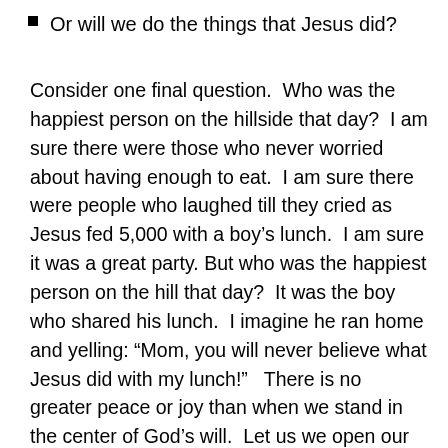Or will we do the things that Jesus did?
Consider one final question.  Who was the happiest person on the hillside that day?  I am sure there were those who never worried about having enough to eat.  I am sure there were people who laughed till they cried as Jesus fed 5,000 with a boy’s lunch.  I am sure it was a great party. But who was the happiest person on the hill that day?  It was the boy who shared his lunch.  I imagine he ran home and yelling: “Mom, you will never believe what Jesus did with my lunch!”   There is no greater peace or joy than when we stand in the center of God’s will.  Let us we open our sacks and offer our lunches to Jesus.  Let us not be content to believe what Jesus did, what Jesus can do, or what Jesus one day will do.  Let us do the